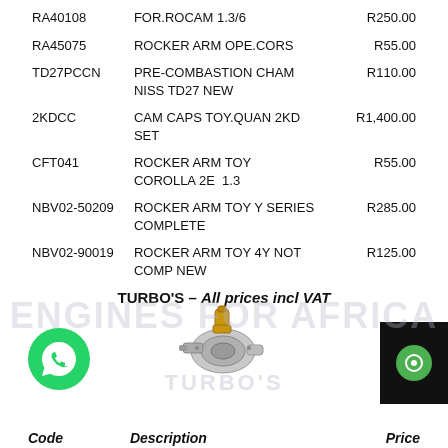| Code | Description | Price |
| --- | --- | --- |
| RA40108 | FOR.ROCAM 1.3/6 | R250.00 |
| RA45075 | ROCKER ARM OPE.CORS | R55.00 |
| TD27PCCN | PRE-COMBASTION CHAM NISS TD27 NEW | R110.00 |
| 2KDCC | CAM CAPS TOY.QUAN 2KD SET | R1,400.00 |
| CFT041 | ROCKER ARM TOY COROLLA 2E 1.3 | R55.00 |
| NBV02-50209 | ROCKER ARM TOY Y SERIES COMPLETE | R285.00 |
| NBV02-90019 | ROCKER ARM TOY 4Y NOT COMP NEW | R125.00 |
TURBO'S – All prices incl VAT
[Figure (illustration): Turbo unit illustration with gold/silver coloring, watermark text ENGINES FOR AFRICA and TURBO'S]
Code   Description   Price